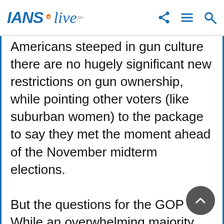IANS live
Americans steeped in gun culture there are no hugely significant new restrictions on gun ownership, while pointing other voters (like suburban women) to the package to say they met the moment ahead of the November midterm elections.

But the questions for the GOP are: While an overwhelming majority will vote no (watch the House), how many of them will vote yes? How will those who vote yes face the rage of the small but vocal minority of their party, who see any new restrictions as unacceptable attacks on the